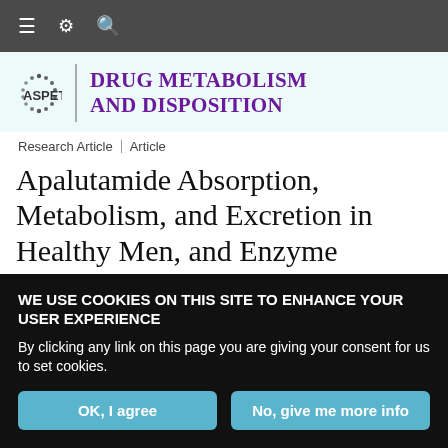≡ ⚙ 🔍
[Figure (logo): ASPET Drug Metabolism and Disposition journal logo with circular dot pattern and purple text]
Research Article | Article
Apalutamide Absorption, Metabolism, and Excretion in Healthy Men, and Enzyme Reaction in
WE USE COOKIES ON THIS SITE TO ENHANCE YOUR USER EXPERIENCE
By clicking any link on this page you are giving your consent for us to set cookies.
OK, I agree | No, give me more info